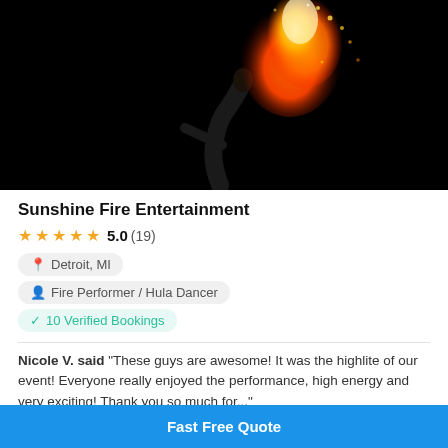[Figure (photo): Fire performer arching backward against black background, emitting a large fireball upward from mouth]
Sunshine Fire Entertainment
★★★★★ 5.0 (19)
Detroit, MI
Fire Performer / Hula Dancer
10 Verified Bookings
Nicole V. said "These guys are awesome! It was the highlite of our event! Everyone really enjoyed the performance, high energy and very exciting! Thank you so much for..."
Fast Free Quote